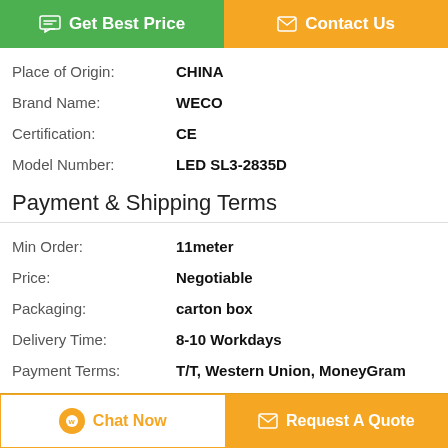[Figure (other): Two buttons: Get Best Price (green) and Contact Us (orange)]
| Place of Origin: | CHINA |
| Brand Name: | WECO |
| Certification: | CE |
| Model Number: | LED SL3-2835D |
Payment & Shipping Terms
| Min Order: | 11meter |
| Price: | Negotiable |
| Packaging: | carton box |
| Delivery Time: | 8-10 Workdays |
| Payment Terms: | T/T, Western Union, MoneyGram |
Description
[Figure (other): Two bottom buttons: Chat Now and Request A Quote]